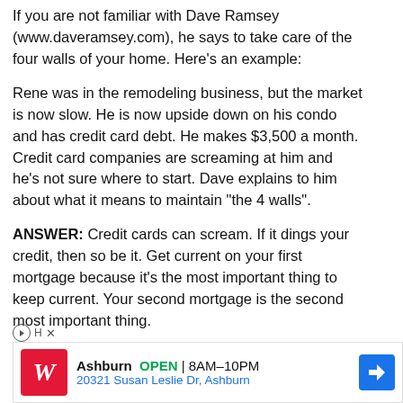If you are not familiar with Dave Ramsey (www.daveramsey.com), he says to take care of the four walls of your home. Here's an example:
Rene was in the remodeling business, but the market is now slow. He is now upside down on his condo and has credit card debt. He makes $3,500 a month. Credit card companies are screaming at him and he's not sure where to start. Dave explains to him about what it means to maintain "the 4 walls".
ANSWER: Credit cards can scream. If it dings your credit, then so be it. Get current on your first mortgage because it's the most important thing to keep current. Your second mortgage is the second most important thing.
[Figure (infographic): Walgreens advertisement banner showing store logo, Ashburn location open 8AM-10PM, address 20321 Susan Leslie Dr, Ashburn, and a blue navigation arrow icon]